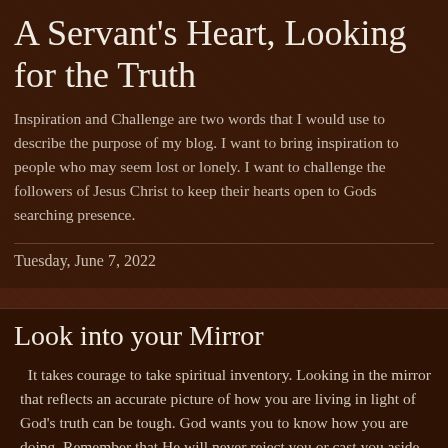A Servant's Heart, Looking for the Truth
Inspiration and Challenge are two words that I would use to describe the purpose of my blog. I want to bring inspiration to people who may seem lost or lonely. I want to challenge the followers of Jesus Christ to keep their hearts open to Gods searching presence.
Tuesday, June 7, 2022
Look into your Mirror
It takes courage to take spiritual inventory. Looking in the mirror that reflects an accurate picture of how you are living in light of God's truth can be tough. God wants you to know how you are doing. Remember that He will never reject you or cast you aside. His truth is meant to help and encourage